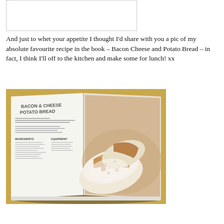[Figure (photo): Partial view of a book or image at the top of the page, shown as a white rectangle with border]
And just to whet your appetite I thought I’d share with you a pic of my absolute favourite recipe in the book – Bacon Cheese and Potato Bread – in fact, I think I’ll off to the kitchen and make some for lunch! xx
[Figure (photo): A cookbook open to the Bacon & Cheese Potato Bread recipe page. The left page shows the recipe title 'BACON & CHEESE POTATO BREAD' in large lettering with ingredients and equipment sections. The right page shows a large photograph of sliced bread loaves with a golden cheesy crust, displayed on a plate/surface.]